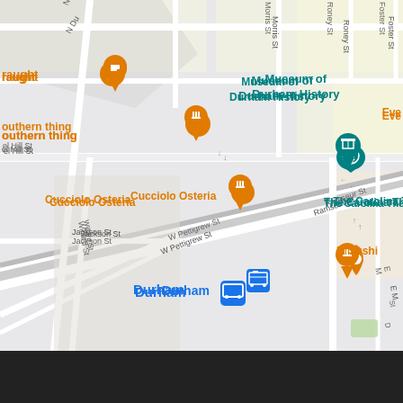[Figure (map): Google Maps view of downtown Durham, NC showing streets including W Pettigrew St, Ramseur St, Willard St, Jackson St, Morris St, Roney St, Foster St, and landmarks including Museum of Durham History, The Carolina Theatre, Durham transit station, 21c Museum Hotel Durham, Bull City Burger and Brewery, M Sushi, Cucciolo Osteria, American Tobacco North Deck, and various restaurant/food pins.]